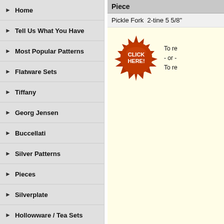Home
Tell Us What You Have
Most Popular Patterns
Flatware Sets
Tiffany
Georg Jensen
Buccellati
Silver Patterns
Pieces
Silverplate
Hollowware / Tea Sets
Fine Estate Jewelry
Danish Plates
Christmas Ornaments
Sterling Baby Items
Flora Danica
Royal Copenhagen China
Polish & Silver Storage
Books
| Piece |
| --- |
| Pickle Fork  2-tine 5 5/8" |
[Figure (other): Red starburst button with CLICK HERE! text in white]